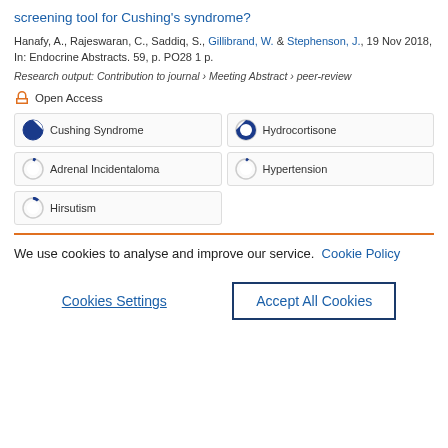screening tool for Cushing's syndrome?
Hanafy, A., Rajeswaran, C., Saddiq, S., Gillibrand, W. & Stephenson, J., 19 Nov 2018, In: Endocrine Abstracts. 59, p. PO28 1 p.
Research output: Contribution to journal › Meeting Abstract › peer-review
Open Access
Cushing Syndrome
Hydrocortisone
Adrenal Incidentaloma
Hypertension
Hirsutism
We use cookies to analyse and improve our service. Cookie Policy
Cookies Settings
Accept All Cookies